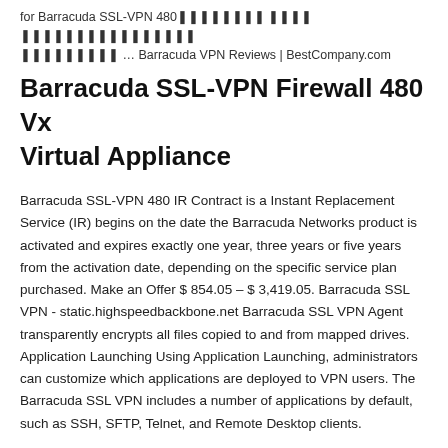for Barracuda SSL-VPN 480 … Barracuda VPN Reviews | BestCompany.com
Barracuda SSL-VPN Firewall 480 Vx Virtual Appliance
Barracuda SSL-VPN 480 IR Contract is a Instant Replacement Service (IR) begins on the date the Barracuda Networks product is activated and expires exactly one year, three years or five years from the activation date, depending on the specific service plan purchased. Make an Offer $ 854.05 – $ 3,419.05. Barracuda SSL VPN - static.highspeedbackbone.net Barracuda SSL VPN Agent transparently encrypts all files copied to and from mapped drives. Application Launching Using Application Launching, administrators can customize which applications are deployed to VPN users. The Barracuda SSL VPN includes a number of applications by default, such as SSH, SFTP, Telnet, and Remote Desktop clients.